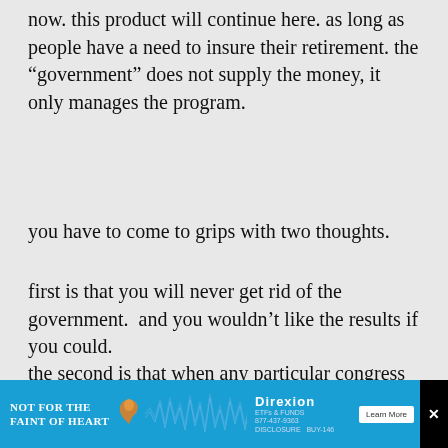now. this product will continue here. as long as people have a need to insure their retirement. the “government” does not supply the money, it only manages the program.
you have to come to grips with two thoughts.
first is that you will never get rid of the government.  and you wouldn’t like the results if you could.
the second is that when any particular congress or administration does something immoral… can’t call it illegal because they make the law… that doesn’t mean that the people who have been warning you that it is happening have been wrong.  it just means you haven’t been paying attention.
[Figure (infographic): Advertisement banner for Direxion with blue background, 'Not For The Faint Of Heart' text, orange bird logo, waveform graphic, Direxion branding, and Learn More button.]